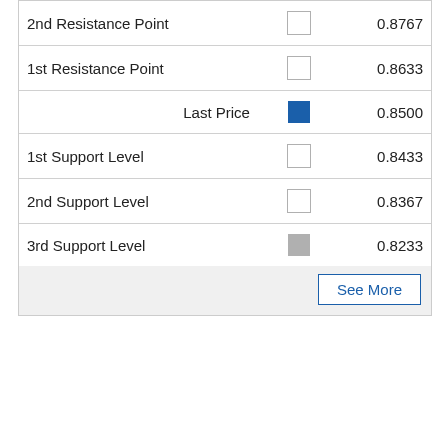| Label | Indicator | Value |
| --- | --- | --- |
| 2nd Resistance Point |  | 0.8767 |
| 1st Resistance Point |  | 0.8633 |
| Last Price |  | 0.8500 |
| 1st Support Level |  | 0.8433 |
| 2nd Support Level |  | 0.8367 |
| 3rd Support Level |  | 0.8233 |